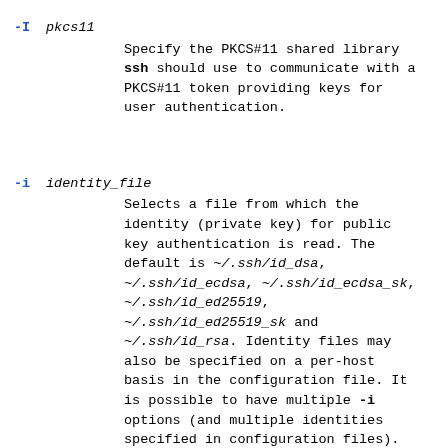-I pkcs11
        Specify the PKCS#11 shared library ssh should use to communicate with a PKCS#11 token providing keys for user authentication.
-i identity_file
        Selects a file from which the identity (private key) for public key authentication is read. The default is ~/.ssh/id_dsa, ~/.ssh/id_ecdsa, ~/.ssh/id_ecdsa_sk, ~/.ssh/id_ed25519, ~/.ssh/id_ed25519_sk and ~/.ssh/id_rsa. Identity files may also be specified on a per-host basis in the configuration file. It is possible to have multiple -i options (and multiple identities specified in configuration files). If no certificates have been